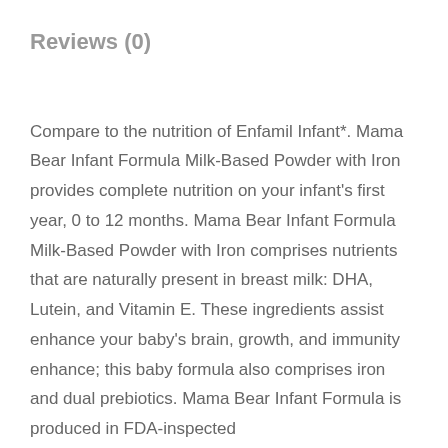Reviews (0)
Compare to the nutrition of Enfamil Infant*. Mama Bear Infant Formula Milk-Based Powder with Iron provides complete nutrition on your infant's first year, 0 to 12 months. Mama Bear Infant Formula Milk-Based Powder with Iron comprises nutrients that are naturally present in breast milk: DHA, Lutein, and Vitamin E. These ingredients assist enhance your baby's brain, growth, and immunity enhance; this baby formula also comprises iron and dual prebiotics. Mama Bear Infant Formula is produced in FDA-inspected